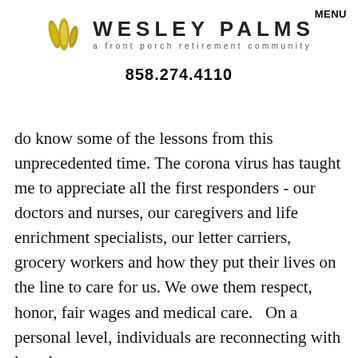[Figure (logo): Wesley Palms logo with two overlapping leaf/eye shapes in gold/olive colors and the text WESLEY PALMS a front porch retirement community]
MENU
858.274.4110
do know some of the lessons from this unprecedented time. The corona virus has taught me to appreciate all the first responders - our doctors and nurses, our caregivers and life enrichment specialists, our letter carriers, grocery workers and how they put their lives on the line to care for us. We owe them respect, honor, fair wages and medical care.   On a personal level, individuals are reconnecting with long lost